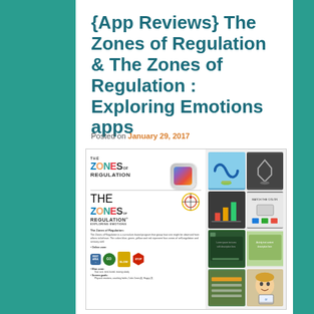{App Reviews} The Zones of Regulation & The Zones of Regulation : Exploring Emotions apps
Posted on January 29, 2017
[Figure (screenshot): Composite image showing logos and screenshots of the Zones of Regulation app and Zones of Regulation: Exploring Emotions app, including app icon, road signs (Rest Area, GO, SLOW, STOP), and multiple app screenshot thumbnails.]